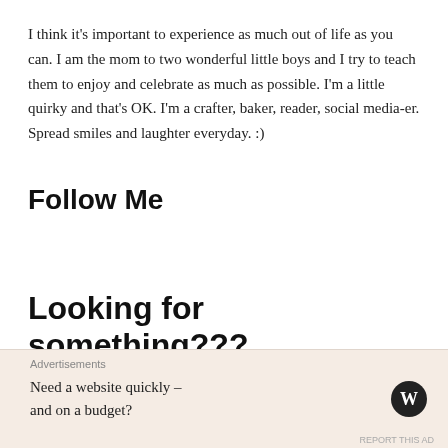I think it's important to experience as much out of life as you can. I am the mom to two wonderful little boys and I try to teach them to enjoy and celebrate as much as possible. I'm a little quirky and that's OK. I'm a crafter, baker, reader, social media-er. Spread smiles and laughter everyday. :)
Follow Me
Looking for something???
Advertisements
Need a website quickly – and on a budget?